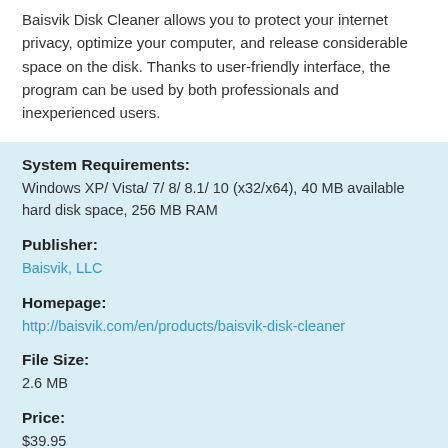Baisvik Disk Cleaner allows you to protect your internet privacy, optimize your computer, and release considerable space on the disk. Thanks to user-friendly interface, the program can be used by both professionals and inexperienced users.
System Requirements:
Windows XP/ Vista/ 7/ 8/ 8.1/ 10 (x32/x64), 40 MB available hard disk space, 256 MB RAM
Publisher:
Baisvik, LLC
Homepage:
http://baisvik.com/en/products/baisvik-disk-cleaner
File Size:
2.6 MB
Price:
$39.95